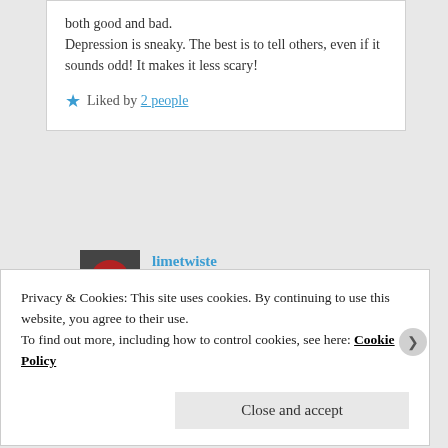both good and bad. Depression is sneaky. The best is to tell others, even if it sounds odd! It makes it less scary!
Liked by 2 people
limetwiste on April 30, 2020 at 8:30 pm said:
Depression craves the isolation
Privacy & Cookies: This site uses cookies. By continuing to use this website, you agree to their use. To find out more, including how to control cookies, see here: Cookie Policy
Close and accept